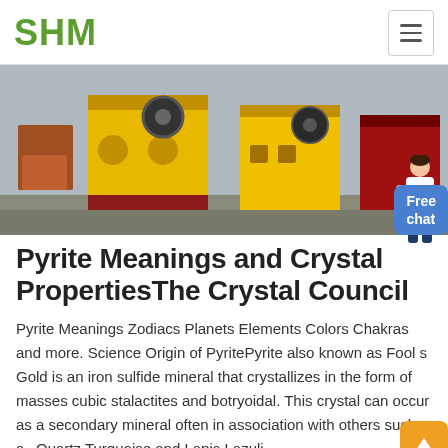SHM
[Figure (photo): Yellow and red industrial jaw crusher machines parked outside on a concrete surface]
Pyrite Meanings and Crystal PropertiesThe Crystal Council
Pyrite Meanings Zodiacs Planets Elements Colors Chakras and more. Science Origin of PyritePyrite also known as Fool s Gold is an iron sulfide mineral that crystallizes in the form of masses cubic stalactites and botryoidal. This crystal can occur as a secondary mineral often in association with others such as Quartz Turquoise and Lapis Lazuli.